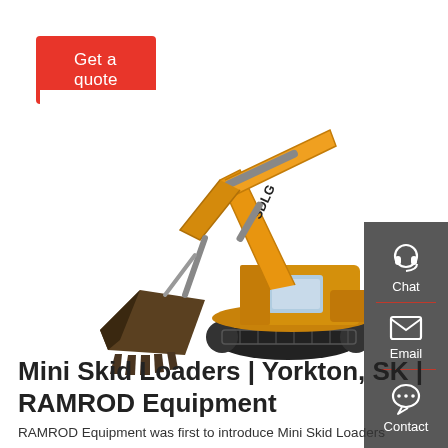Get a quote
[Figure (photo): Orange SDLG excavator with bucket arm extended, on white background]
[Figure (infographic): Dark grey sidebar with Chat (headset icon), Email (envelope icon), and Contact (speech bubble icon) options, separated by red dividers]
Mini Skid Loaders | Yorkton, SK | RAMROD Equipment
RAMROD Equipment was first to introduce Mini Skid Loaders